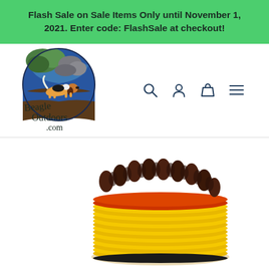Flash Sale on Sale Items Only until November 1, 2021. Enter code: FlashSale at checkout!
[Figure (logo): Beagle Outdoors logo — circular illustration of a beagle dog walking near water with green foliage and rocks, with cursive text 'Beagle Outdoors .com' below]
[Figure (other): Navigation icons: search (magnifying glass), account (person silhouette), cart (shopping bag), and hamburger menu (three horizontal lines)]
[Figure (photo): Product photo showing a coiled yellow rope or cord with dark brown/chocolate tipped ends and orange accents, viewed from above, partially cut off at bottom]